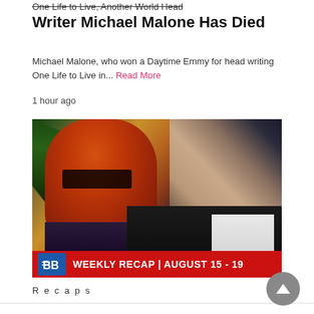One Life to Live, Another World Head Writer Michael Malone Has Died
Michael Malone, who won a Daytime Emmy for head writing One Life to Live in... Read More
1 hour ago
[Figure (photo): Photo of two soap opera actors — a woman with red hair and glasses on the left, and a man in a dark suit on the right — with a red banner overlay reading 'WEEKLY RECAP | AUGUST 15 - 19' and the Bold and Beautiful logo.]
Recaps